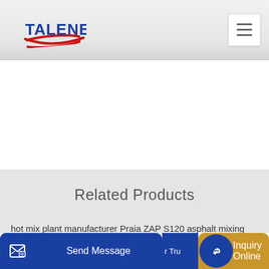[Figure (logo): TALENET company logo with red swoosh and blue text]
Related Products
hot mix plant manufacturer Praia ZAP S120 asphalt mixing
MESAS 100 M3 H DRY SYSTEM CONCRETE BATCHING
Send Message
Inquiry Online